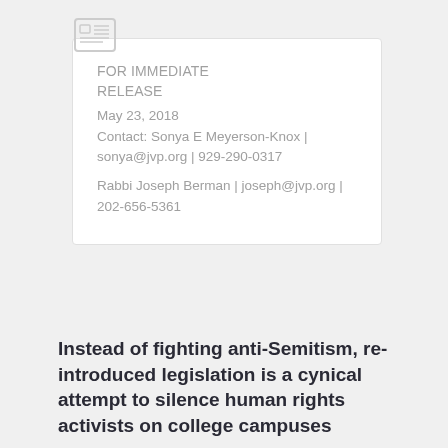FOR IMMEDIATE RELEASE
May 23, 2018
Contact: Sonya E Meyerson-Knox | sonya@jvp.org | 929-290-0317
Rabbi Joseph Berman | joseph@jvp.org | 202-656-5361
Instead of fighting anti-Semitism, re-introduced legislation is a cynical attempt to silence human rights activists on college campuses